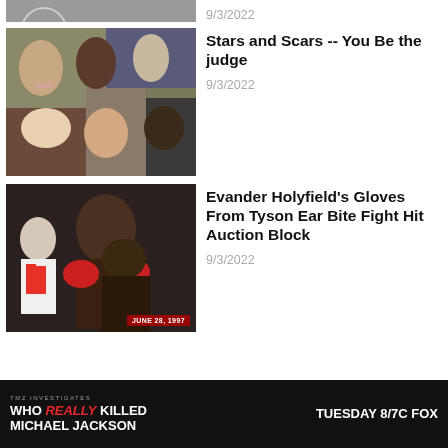[Figure (photo): Partial top article image cropped at top, circular element visible]
9/3/2022
[Figure (photo): Collage of celebrities including tennis players, Britney Spears, Madonna, and others]
Stars and Scars -- You Be the judge
9/3/2022
[Figure (photo): Boxing match photo showing Mike Tyson and Evander Holyfield clinch, referee visible, dated JUNE 28, 1997]
Evander Holyfield's Gloves From Tyson Ear Bite Fight Hit Auction Block
9/3/2022
[Figure (photo): Advertisement banner for Fox show 'Who Really Killed Michael Jackson', Tuesday 8/7c Fox]